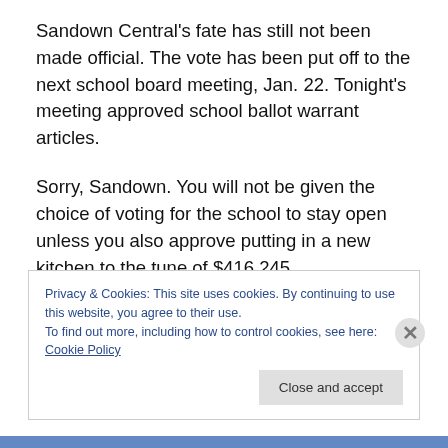Sandown Central's fate has still not been made official. The vote has been put off to the next school board meeting, Jan. 22. Tonight's meeting approved school ballot warrant articles.
Sorry, Sandown. You will not be given the choice of voting for the school to stay open unless you also approve putting in a new kitchen to the tune of $416,245.
Citizen's petition anyone? (You've got to Jan. 13 at 5 pm )
Privacy & Cookies: This site uses cookies. By continuing to use this website, you agree to their use. To find out more, including how to control cookies, see here: Cookie Policy